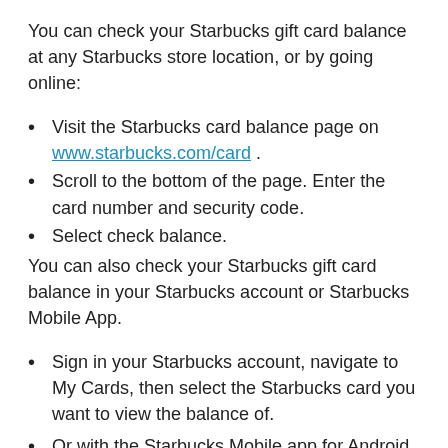You can check your Starbucks gift card balance at any Starbucks store location, or by going online:
Visit the Starbucks card balance page on www.starbucks.com/card .
Scroll to the bottom of the page. Enter the card number and security code.
Select check balance.
You can also check your Starbucks gift card balance in your Starbucks account or Starbucks Mobile App.
Sign in your Starbucks account, navigate to My Cards, then select the Starbucks card you want to view the balance of.
Or with the Starbucks Mobile app for Android or iPhone, select Cards and you can view the balances of all cards and Starbucks cards associated with your Starbucks Rewards